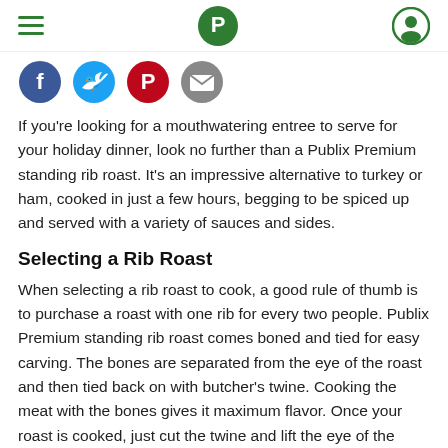Publix header navigation with hamburger menu, Publix logo, and user icon
[Figure (infographic): Social sharing icons: Facebook (blue), Twitter (blue), Pinterest (red), Email (grey)]
If you're looking for a mouthwatering entree to serve for your holiday dinner, look no further than a Publix Premium standing rib roast. It's an impressive alternative to turkey or ham, cooked in just a few hours, begging to be spiced up and served with a variety of sauces and sides.
Selecting a Rib Roast
When selecting a rib roast to cook, a good rule of thumb is to purchase a roast with one rib for every two people. Publix Premium standing rib roast comes boned and tied for easy carving. The bones are separated from the eye of the roast and then tied back on with butcher's twine. Cooking the meat with the bones gives it maximum flavor. Once your roast is cooked, just cut the twine and lift the eye of the roast off the rack of ribs.